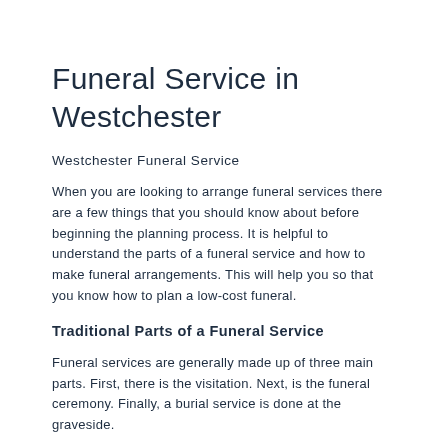Funeral Service in Westchester
Westchester Funeral Service
When you are looking to arrange funeral services there are a few things that you should know about before beginning the planning process. It is helpful to understand the parts of a funeral service and how to make funeral arrangements. This will help you so that you know how to plan a low-cost funeral.
Traditional Parts of a Funeral Service
Funeral services are generally made up of three main parts. First, there is the visitation. Next, is the funeral ceremony. Finally, a burial service is done at the graveside.